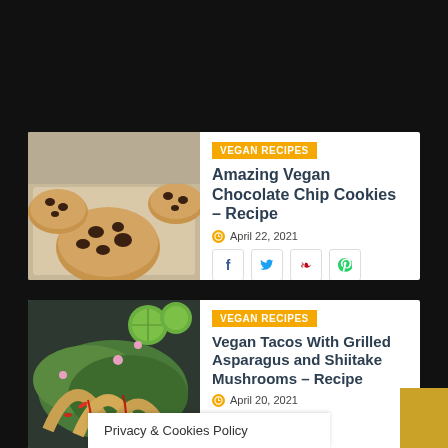[Figure (photo): Vegan chocolate chip cookies on a baking tray]
VEGAN RECIPES
Amazing Vegan Chocolate Chip Cookies – Recipe
April 22, 2021
[Figure (photo): Vegan tacos with grilled asparagus and shiitake mushrooms, garnished with lime and greens]
VEGAN RECIPES
Vegan Tacos With Grilled Asparagus and Shiitake Mushrooms – Recipe
April 20, 2021
Privacy & Cookies Policy